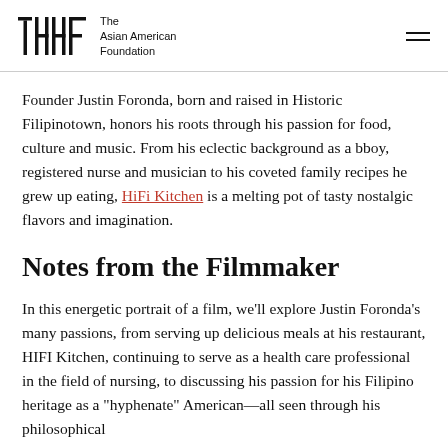TAAF The Asian American Foundation
Founder Justin Foronda, born and raised in Historic Filipinotown, honors his roots through his passion for food, culture and music. From his eclectic background as a bboy, registered nurse and musician to his coveted family recipes he grew up eating, HiFi Kitchen is a melting pot of tasty nostalgic flavors and imagination.
Notes from the Filmmaker
In this energetic portrait of a film, we'll explore Justin Foronda's many passions, from serving up delicious meals at his restaurant, HIFI Kitchen, continuing to serve as a health care professional in the field of nursing, to discussing his passion for his Filipino heritage as a "hyphenate" American—all seen through his philosophical